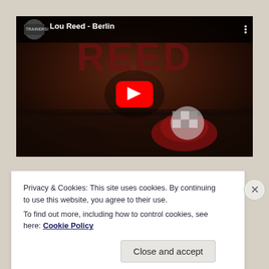[Figure (screenshot): YouTube video thumbnail for 'Lou Reed - Berlin' showing album artwork with decorative objects and the text REED made from dark flowers, with a red YouTube play button in the center and channel icon top left.]
Privacy & Cookies: This site uses cookies. By continuing to use this website, you agree to their use.
To find out more, including how to control cookies, see here: Cookie Policy
Close and accept